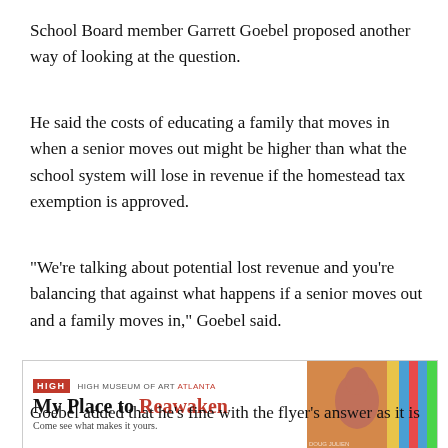School Board member Garrett Goebel proposed another way of looking at the question.
He said the costs of educating a family that moves in when a senior moves out might be higher than what the school system will lose in revenue if the homestead tax exemption is approved.
“We’re talking about potential lost revenue and you’re balancing that against what happens if a senior moves out and a family moves in,” Goebel said.
[Figure (other): Advertisement banner for High Museum of Art Atlanta with text 'My Place to Reawaken' and tagline 'Come see what makes it yours.' with colorful image on right side.]
Goebel added that he’s fine with the flyer’s answer as it is